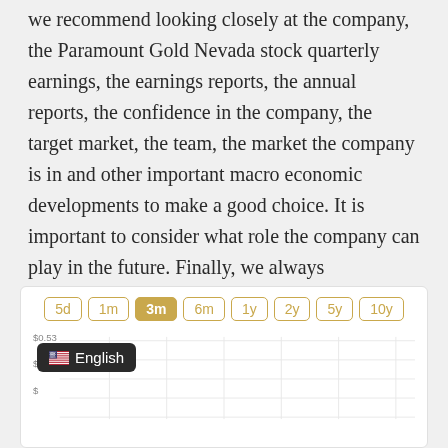we recommend looking closely at the company, the Paramount Gold Nevada stock quarterly earnings, the earnings reports, the annual reports, the confidence in the company, the target market, the team, the market the company is in and other important macro economic developments to make a good choice. It is important to consider what role the company can play in the future. Finally, we always recommend keeping an eye on the latest Paramount Gold Nevadastock news to see if there are any major changes that will have an impact.
[Figure (continuous-plot): Stock price chart for Paramount Gold Nevada with time period selector buttons (5d, 1m, 3m selected, 6m, 1y, 2y, 5y, 10y). Chart shows a gridded area with price axis labels partially visible (~$0.53). An English language selector tooltip overlay is shown in the bottom-left of the chart area.]